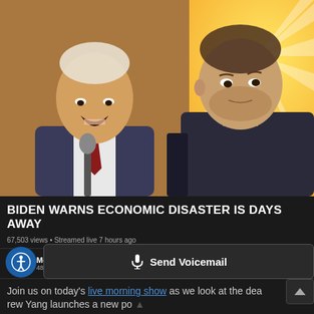[Figure (screenshot): YouTube video thumbnail showing two men: an older politician-type man on the left speaking at a microphone, and a younger man in a dark t-shirt on the right with a skeptical expression, against a yellow sunburst background.]
BIDEN WARNS ECONOMIC DISASTER IS DAYS AWAY
67,503 views • Streamed live 7 hours ago
Morning Invest
482K subscribers
BECOME A V
Join us on today's live morning show as we look at the dea... rew Yang launches a new po... here to RSVP and I'll see you at